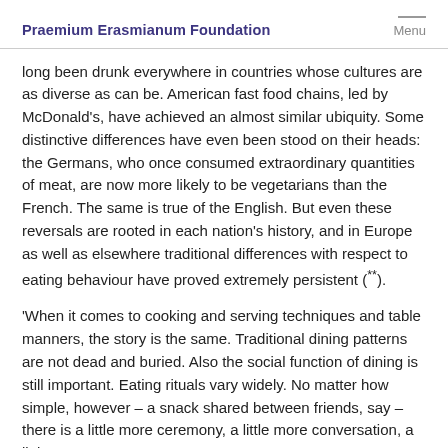Praemium Erasmianum Foundation   Menu
long been drunk everywhere in countries whose cultures are as diverse as can be. American fast food chains, led by McDonald's, have achieved an almost similar ubiquity. Some distinctive differences have even been stood on their heads: the Germans, who once consumed extraordinary quantities of meat, are now more likely to be vegetarians than the French. The same is true of the English. But even these reversals are rooted in each nation's history, and in Europe as well as elsewhere traditional differences with respect to eating behaviour have proved extremely persistent (**).
'When it comes to cooking and serving techniques and table manners, the story is the same. Traditional dining patterns are not dead and buried. Also the social function of dining is still important. Eating rituals vary widely. No matter how simple, however – a snack shared between friends, say – there is a little more ceremony, a little more conversation, a little more